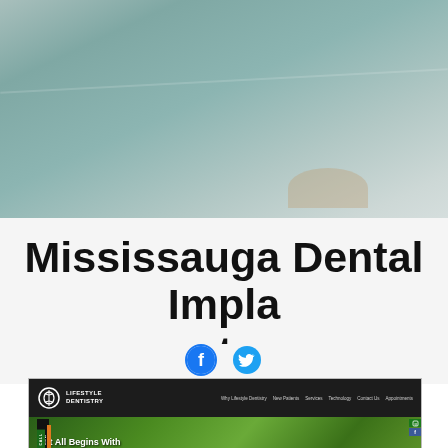[Figure (photo): Blurred dental office background photo showing teal/grey ceiling and walls]
Mississauga Dental Implants
[Figure (other): Facebook and Twitter social media icons in cyan/blue color]
[Figure (screenshot): Screenshot of Lifestyle Dentistry website showing navigation bar with links (Why Lifestyle Dentistry, New Patients, Services, Technology, Contact Us, Appointments) and hero section with family photo and text 'It All Begins With']